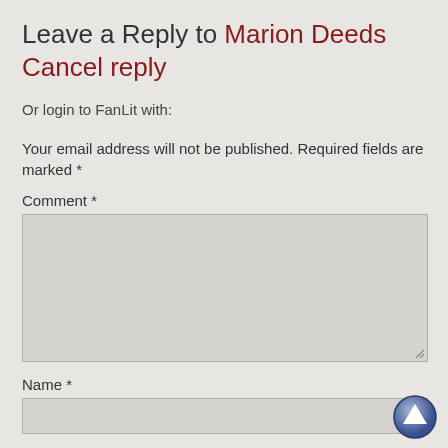Leave a Reply to Marion Deeds Cancel reply
Or login to FanLit with:
Your email address will not be published. Required fields are marked *
Comment *
Name *
Email *